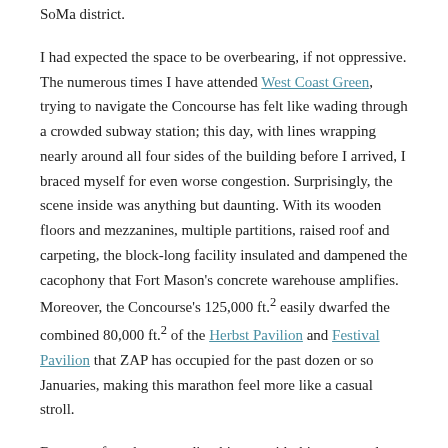SoMa district.
I had expected the space to be overbearing, if not oppressive. The numerous times I have attended West Coast Green, trying to navigate the Concourse has felt like wading through a crowded subway station; this day, with lines wrapping nearly around all four sides of the building before I arrived, I braced myself for even worse congestion. Surprisingly, the scene inside was anything but daunting. With its wooden floors and mezzanines, multiple partitions, raised roof and carpeting, the block-long facility insulated and dampened the cacophony that Fort Mason's concrete warehouse amplifies. Moreover, the Concourse's 125,000 ft.² easily dwarfed the combined 80,000 ft.² of the Herbst Pavilion and Festival Pavilion that ZAP has occupied for the past dozen or so Januaries, making this marathon feel more like a casual stroll.
Because of my long-standing history with this event, only a handful of presenters had not been covered on these pages; only fitting, therefore, that I started off this iteration with Beekeeper Cellars, a single-wine project focused on one of Zinfandel's most storied appellations, Rockpile. Fittingly, Ian Blackburn's first vintage, the 2009 Zinfandel Madrone...